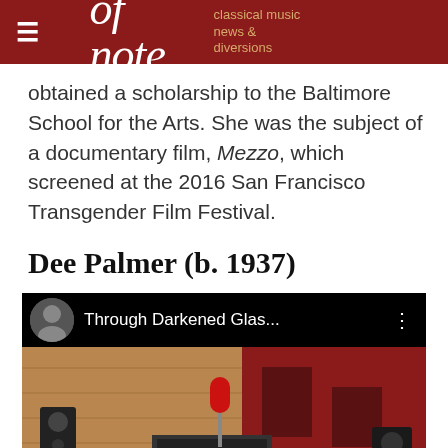of note — classical music news & diversions
obtained a scholarship to the Baltimore School for the Arts. She was the subject of a documentary film, Mezzo, which screened at the 2016 San Francisco Transgender Film Festival.
Dee Palmer (b. 1937)
[Figure (screenshot): YouTube video embed showing 'Through Darkened Glas...' with a studio/recording room background featuring speakers, audio equipment, and red-accented walls. A YouTube play button is visible at the bottom center.]